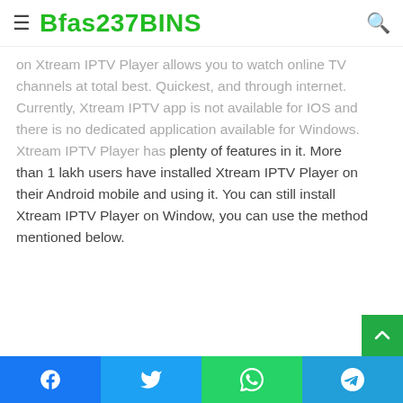Bfas237BINS
on Xtream IPTV Player allows you to watch online TV channels at total best. Quickest, and through internet. Currently, Xtream IPTV app is not available for IOS and there is no dedicated application available for Windows. Xtream IPTV Player has plenty of features in it. More than 1 lakh users have installed Xtream IPTV Player on their Android mobile and using it. You can still install Xtream IPTV Player on Window, you can use the method mentioned below.
Facebook | Twitter | WhatsApp | Telegram